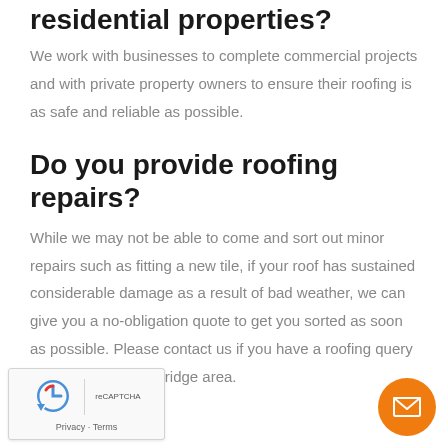residential properties?
We work with businesses to complete commercial projects and with private property owners to ensure their roofing is as safe and reliable as possible.
Do you provide roofing repairs?
While we may not be able to come and sort out minor repairs such as fitting a new tile, if your roof has sustained considerable damage as a result of bad weather, we can give you a no-obligation quote to get you sorted as soon as possible. Please contact us if you have a roofing query and live in the Weybridge area.
[Figure (other): reCAPTCHA widget with Privacy and Terms links]
[Figure (other): Orange circular email contact button with envelope icon]